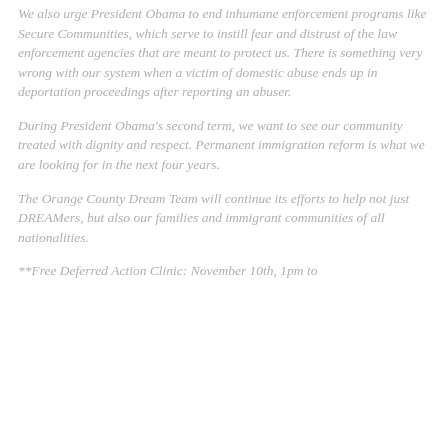We also urge President Obama to end inhumane enforcement programs like Secure Communities, which serve to instill fear and distrust of the law enforcement agencies that are meant to protect us. There is something very wrong with our system when a victim of domestic abuse ends up in deportation proceedings after reporting an abuser.
During President Obama's second term, we want to see our community treated with dignity and respect. Permanent immigration reform is what we are looking for in the next four years.
The Orange County Dream Team will continue its efforts to help not just DREAMers, but also our families and immigrant communities of all nationalities.
**Free Deferred Action Clinic: November 10th, 1pm to